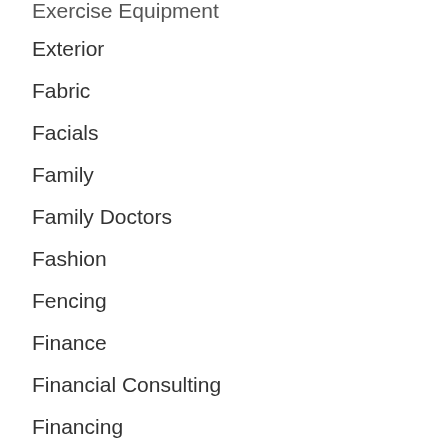Exercise Equipment
Exterior
Fabric
Facials
Family
Family Doctors
Fashion
Fencing
Finance
Financial Consulting
Financing
Fire Protection
Fireplace Services
Firewood Services
Fishing
Fishing Related